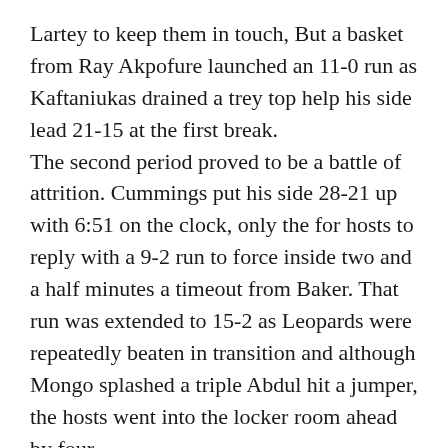Lartey to keep them in touch, But a basket from Ray Akpofure launched an 11-0 run as Kaftaniukas drained a trey top help his side lead 21-15 at the first break. The second period proved to be a battle of attrition. Cummings put his side 28-21 up with 6:51 on the clock, only the for hosts to reply with a 9-2 run to force inside two and a half minutes a timeout from Baker. That run was extended to 15-2 as Leopards were repeatedly beaten in transition and although Mongo splashed a triple Abdul hit a jumper, the hosts went into the locker room ahead by four. Baker's words at half-time certainly hit the mark